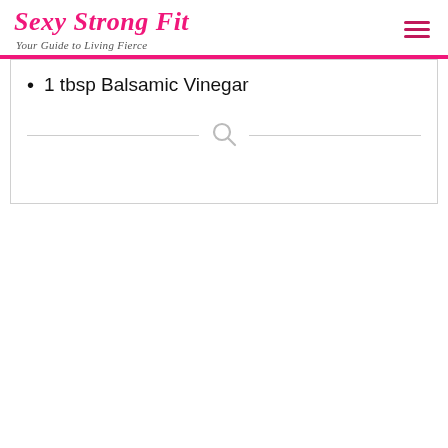Sexy Strong Fit — Your Guide to Living Fierce
1 tbsp Balsamic Vinegar
[Figure (other): Search icon divider with two horizontal lines]